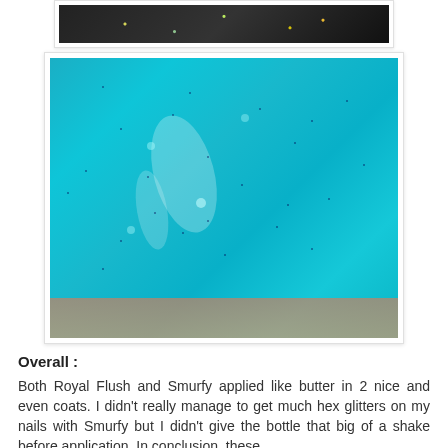[Figure (photo): Partial view of nails painted with glittery nail polish — teal/turquoise glitter polish visible at top of page]
[Figure (photo): Close-up photograph of fingernails painted with bright teal/turquoise glitter nail polish (Smurfy), showing sparkly hex glitter particles on the nails against skin background]
Overall :
Both Royal Flush and Smurfy applied like butter in 2 nice and even coats. I didn't really manage to get much hex glitters on my nails with Smurfy but I didn't give the bottle that big of a shake before application. In conclusion, these